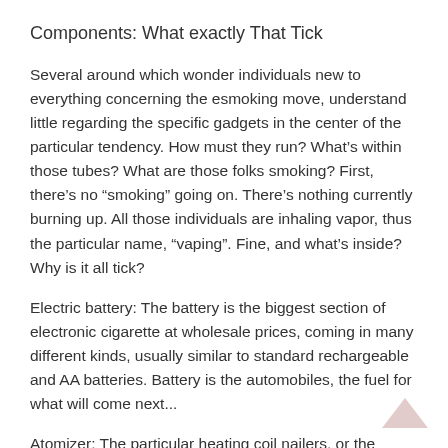Components: What exactly That Tick
Several around which wonder individuals new to everything concerning the esmoking move, understand little regarding the specific gadgets in the center of the particular tendency. How must they run? What’s within those tubes? What are those folks smoking? First, there’s no “smoking” going on. There’s nothing currently burning up. All those individuals are inhaling vapor, thus the particular name, “vaping”. Fine, and what’s inside? Why is it all tick?
Electric battery: The battery is the biggest section of electronic cigarette at wholesale prices, coming in many different kinds, usually similar to standard rechargeable and AA batteries. Battery is the automobiles, the fuel for what will come next...
Atomizer: The particular heating coil nailers, or the atomizer, will be theoul bone of the electronic...